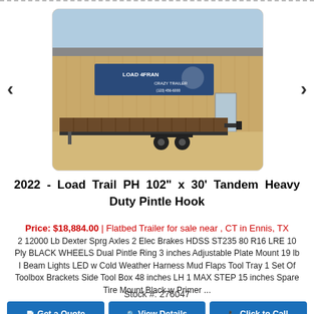[Figure (photo): Photograph of a 2022 Load Trail PH flatbed pintle hook trailer parked in front of a tan metal building with a Load Trail / Crazy Trailer sign, on a dirt/gravel lot.]
2022 - Load Trail PH 102" x 30' Tandem Heavy Duty Pintle Hook
Price: $18,884.00 | Flatbed Trailer for sale near , CT in Ennis, TX
2 12000 Lb Dexter Sprg Axles 2 Elec Brakes HDSS ST235 80 R16 LRE 10 Ply BLACK WHEELS Dual Pintle Ring 3 inches Adjustable Plate Mount 19 lb I Beam Lights LED w Cold Weather Harness Mud Flaps Tool Tray 1 Set Of Toolbox Brackets Side Tool Box 48 inches LH 1 MAX STEP 15 inches Spare Tire Mount Black w Primer ...
Stock #: 276047